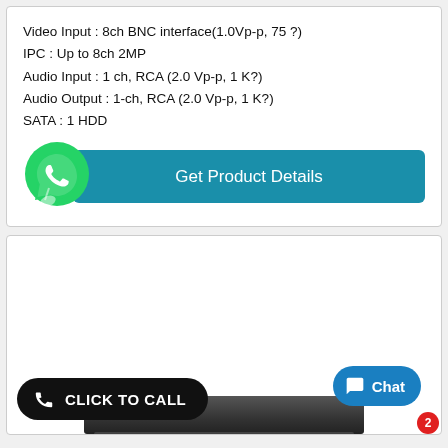Video Input : 8ch BNC interface(1.0Vp-p, 75 ?)
IPC : Up to 8ch 2MP
Audio Input : 1 ch, RCA (2.0 Vp-p, 1 K?)
Audio Output : 1-ch, RCA (2.0 Vp-p, 1 K?)
SATA : 1 HDD
[Figure (screenshot): WhatsApp icon (green circle with white phone handset) beside a teal 'Get Product Details' button]
[Figure (photo): Product image area showing a dark/black NVR device at the bottom, with a 'CLICK TO CALL' black rounded button on the lower left and a blue 'Chat' button with a red badge showing '2' on the lower right]